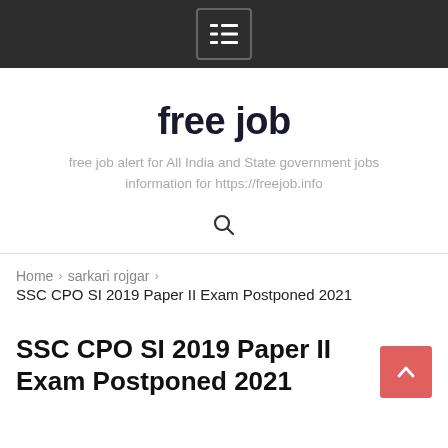Menu navigation bar with hamburger icon
free job
free job alert for All India and State government jobs information for https://freejob.info
🔍 Search icon
Home › sarkari rojgar ›
SSC CPO SI 2019 Paper II Exam Postponed 2021
SSC CPO SI 2019 Paper II Exam Postponed 2021